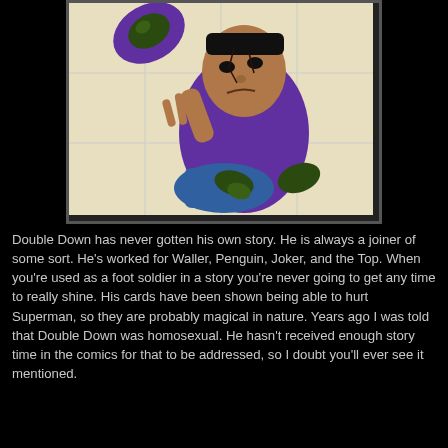[Figure (illustration): Comic book illustration of Double Down, a DC Comics villain wearing a purple outfit with decorative scroll patterns on his sleeves. He is crouching in a fighting pose with one hand raised showing fingers and his face has a cracked appearance. The background shows a tiled floor.]
Double Down has never gotten his own story. He is always a joiner of some sort. He's worked for Waller, Penguin, Joker, and the Top. When you're used as a foot soldier in a story you're never going to get any time to really shine. His cards have been shown being able to hurt Superman, so they are probably magical in nature. Years ago I was told that Double Down was homosexual. He hasn't received enough story time in the comics for that to be addressed, so I doubt you'll ever see it mentioned.